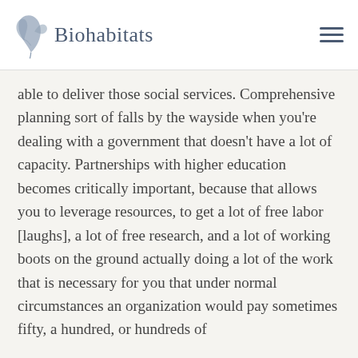Biohabitats
able to deliver those social services. Comprehensive planning sort of falls by the wayside when you're dealing with a government that doesn't have a lot of capacity. Partnerships with higher education becomes critically important, because that allows you to leverage resources, to get a lot of free labor [laughs], a lot of free research, and a lot of working boots on the ground actually doing a lot of the work that is necessary for you that under normal circumstances an organization would pay sometimes fifty, a hundred, or hundreds of